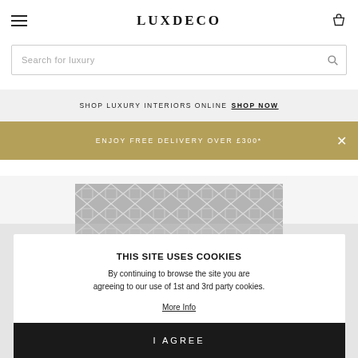LUXDECO
Search for luxury
SHOP LUXURY INTERIORS ONLINE  SHOP NOW
ENJOY FREE DELIVERY OVER £300*
[Figure (photo): A grey geometric diamond-pattern luxury rug shown as a horizontal runner]
THIS SITE USES COOKIES
By continuing to browse the site you are agreeing to our use of 1st and 3rd party cookies.
More Info
I AGREE